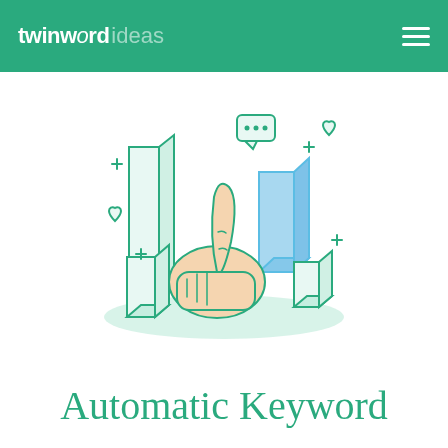twinword ideas
[Figure (illustration): Isometric illustration of a thumbs-up hand surrounded by bar chart columns and social media icons (chat bubble, heart), in teal outline and blue/peach fill style, representing keyword ideas or SEO content marketing.]
Automatic Keyword